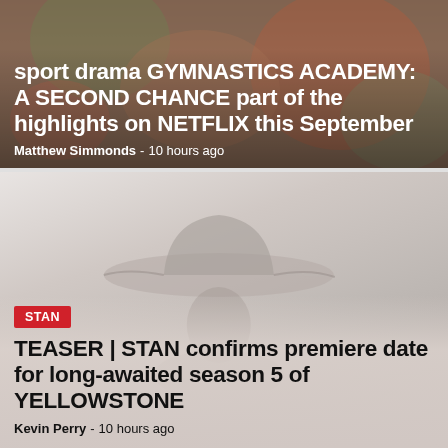sport drama GYMNASTICS ACADEMY: A SECOND CHANCE part of the highlights on NETFLIX this September
Matthew Simmonds - 10 hours ago
[Figure (photo): A faded, misty photograph of a person wearing a cowboy hat, face partially visible, very light and washed out in greys and whites.]
STAN
TEASER | STAN confirms premiere date for long-awaited season 5 of YELLOWSTONE
Kevin Perry - 10 hours ago